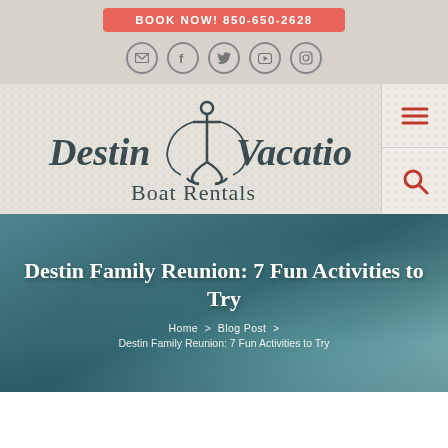BOOK NOW! 850-650-2628
[Figure (logo): Destin Vacation Boat Rentals logo with anchor illustration and cursive/serif text]
Destin Family Reunion: 7 Fun Activities to Try
Home > Blog Post > Destin Family Reunion: 7 Fun Activities to Try